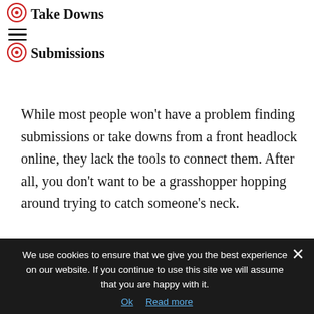Take Downs
Submissions
While most people won't have a problem finding submissions or take downs from a front headlock online, they lack the tools to connect them. After all, you don't want to be a grasshopper hopping around trying to catch someone's neck.
The first three aspects, setups, grips, and tactics are the most important
We use cookies to ensure that we give you the best experience on our website. If you continue to use this site we will assume that you are happy with it.
Ok  Read more